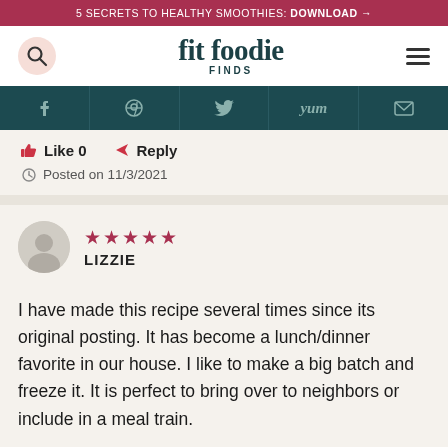5 SECRETS TO HEALTHY SMOOTHIES: DOWNLOAD →
[Figure (logo): Fit Foodie Finds logo with search icon and hamburger menu]
[Figure (infographic): Social sharing navigation bar with Facebook, Pinterest, Twitter, Yum, and Email icons on dark teal background]
Like 0   Reply
Posted on 11/3/2021
★★★★★ LIZZIE
I have made this recipe several times since its original posting. It has become a lunch/dinner favorite in our house. I like to make a big batch and freeze it. It is perfect to bring over to neighbors or include in a meal train.